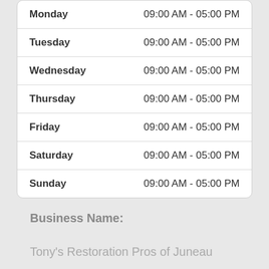| Day | Hours |
| --- | --- |
| Monday | 09:00 AM - 05:00 PM |
| Tuesday | 09:00 AM - 05:00 PM |
| Wednesday | 09:00 AM - 05:00 PM |
| Thursday | 09:00 AM - 05:00 PM |
| Friday | 09:00 AM - 05:00 PM |
| Saturday | 09:00 AM - 05:00 PM |
| Sunday | 09:00 AM - 05:00 PM |
Business Name:
Tony's Restoration Pros of Juneau